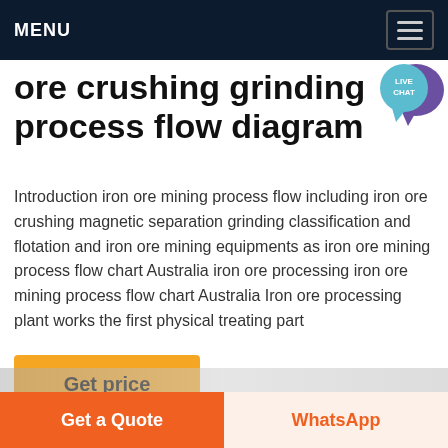MENU
ore crushing grinding process flow diagram
[Figure (other): Live Chat bubble icon in teal/purple color in top right corner]
Introduction iron ore mining process flow including iron ore crushing magnetic separation grinding classification and flotation and iron ore mining equipments as iron ore mining process flow chart Australia iron ore processing iron ore mining process flow chart Australia Iron ore processing plant works the first physical treating part
Get price
[Figure (photo): Partially visible image at the bottom of the page, appears to be a mining or industrial scene]
Get a Quote | WhatsApp